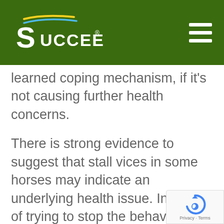[Figure (logo): Succeed brand logo with green background, white stylized S with yellow and blue swoosh marks, and hamburger menu icon on the right]
learned coping mechanism, if it's not causing further health concerns.
There is strong evidence to suggest that stall vices in some horses may indicate an underlying health issue. Instead of trying to stop the behavior, these symptoms should be addressed by finding and fixing the root cause. While there are a variety of issues